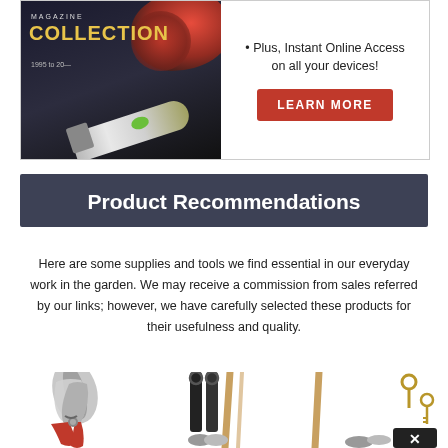[Figure (photo): Magazine Collection USB drive advertisement banner with red flowers, USB drive and 'LEARN MORE' button]
Product Recommendations
Here are some supplies and tools we find essential in our everyday work in the garden. We may receive a commission from sales referred by our links; however, we have carefully selected these products for their usefulness and quality.
[Figure (photo): Three product images: pruning shears (red handles), plant ties (black straps), and rope/lock kit]
Plus, Instant Online Access on all your devices!